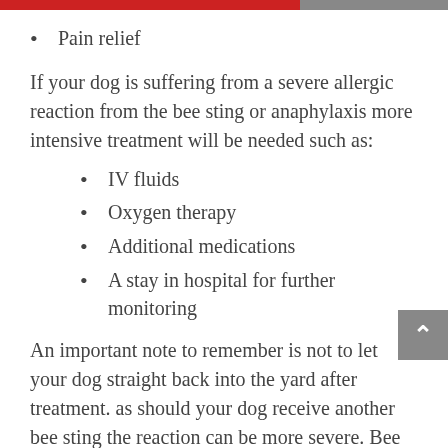Pain relief
If your dog is suffering from a severe allergic reaction from the bee sting or anaphylaxis more intensive treatment will be needed such as:
IV fluids
Oxygen therapy
Additional medications
A stay in hospital for further monitoring
An important note to remember is not to let your dog straight back into the yard after treatment. as should your dog receive another bee sting the reaction can be more severe. Bee sting reactions also tend to be more severe...